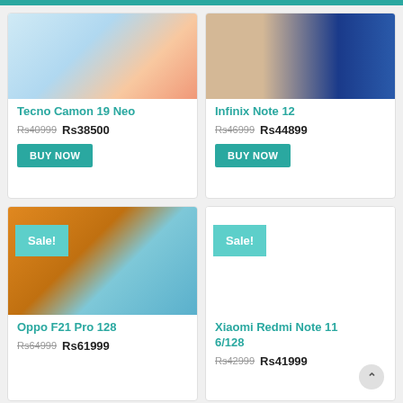[Figure (photo): Tecno Camon 19 Neo smartphone product image with blue and orange gradient background]
Tecno Camon 19 Neo
Rs40999  Rs38500
BUY NOW
[Figure (photo): Infinix Note 12 smartphone product image with gold and blue tones]
Infinix Note 12
Rs46999  Rs44899
BUY NOW
[Figure (photo): Oppo F21 Pro 128 smartphone product image with orange and blue colors, Sale! badge]
Oppo F21 Pro 128
Rs64999  Rs61999
[Figure (photo): Xiaomi Redmi Note 11 6/128 product image placeholder with Sale! badge]
Xiaomi Redmi Note 11 6/128
Rs42999  Rs41999